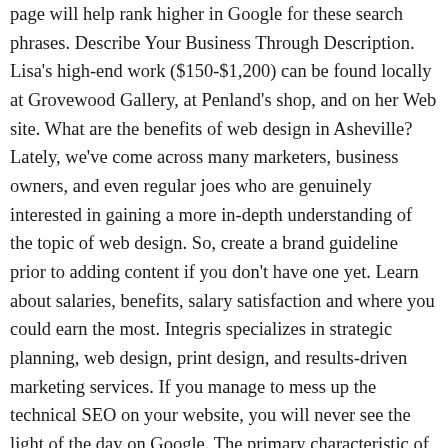page will help rank higher in Google for these search phrases. Describe Your Business Through Description. Lisa's high-end work ($150-$1,200) can be found locally at Grovewood Gallery, at Penland's shop, and on her Web site. What are the benefits of web design in Asheville? Lately, we've come across many marketers, business owners, and even regular joes who are genuinely interested in gaining a more in-depth understanding of the topic of web design. So, create a brand guideline prior to adding content if you don't have one yet. Learn about salaries, benefits, salary satisfaction and where you could earn the most. Integris specializes in strategic planning, web design, print design, and results-driven marketing services. If you manage to mess up the technical SEO on your website, you will never see the light of the day on Google. The primary characteristic of a great catalog page is minimalism. A web design agency should have on staff both talented web designers, with fresh ideas and extensive technical and creative skills, and a marketing team that